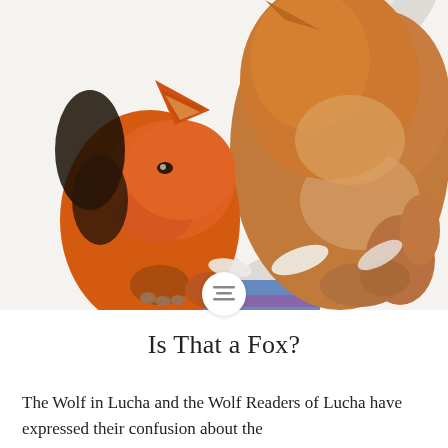[Figure (illustration): Digital illustration of two fox/wolf-like anthropomorphic animals with orange and brown fur, one grooming or nuzzling the other. Background has stylized white leaf shapes and a blue/purple striped element.]
Is That a Fox?
The Wolf in Lucha and the Wolf Readers of Lucha have expressed their confusion about the